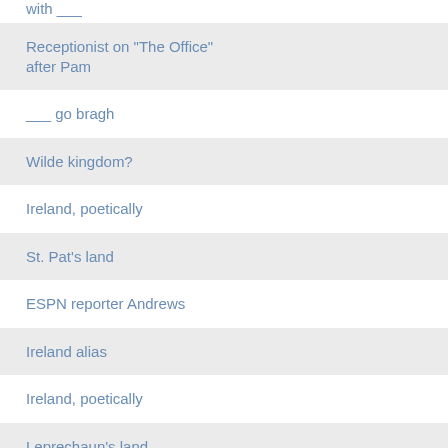with ___
Receptionist on "The Office" after Pam
___ go bragh
Wilde kingdom?
Ireland, poetically
St. Pat's land
ESPN reporter Andrews
Ireland alias
Ireland, poetically
Leprechaun's land